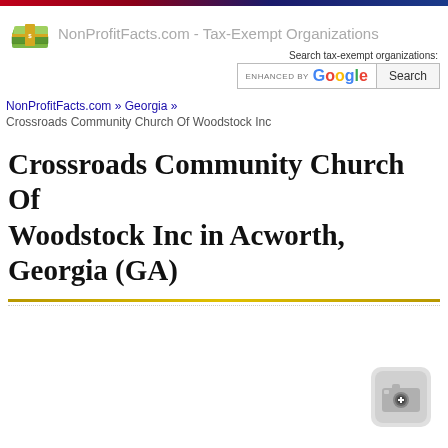NonProfitFacts.com - Tax-Exempt Organizations
Search tax-exempt organizations:
ENHANCED BY Google  Search
NonProfitFacts.com » Georgia »
Crossroads Community Church Of Woodstock Inc
Crossroads Community Church Of Woodstock Inc in Acworth, Georgia (GA)